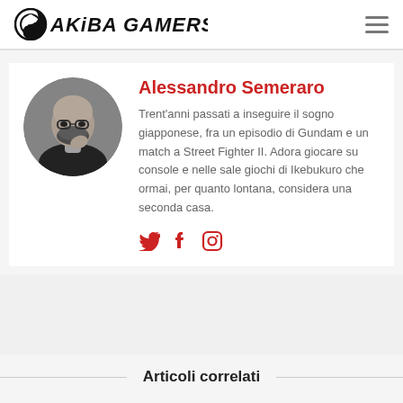Akiba Gamers
[Figure (photo): Circular portrait photo of Alessandro Semeraro, a bald man with glasses and beard, in black and white]
Alessandro Semeraro
Trent'anni passati a inseguire il sogno giapponese, fra un episodio di Gundam e un match a Street Fighter II. Adora giocare su console e nelle sale giochi di Ikebukuro che ormai, per quanto lontana, considera una seconda casa.
[Figure (other): Social media icons: Twitter bird, Facebook f, Instagram camera — all in red]
Articoli correlati